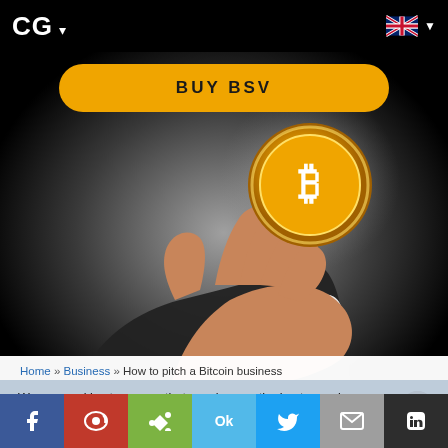CG ▾
[Figure (other): Button: BUY BSV — yellow pill-shaped button on black background]
[Figure (photo): Hand in a business suit holding up a gold Bitcoin coin against a dramatic light background]
Home » Business » How to pitch a Bitcoin business
We use cookies to ensure that we give you the best experience on our website. If you continue to use this site we will assume that you are happy with it
BUSINESS   24 JANUARY 2020   Connor Murray
[Figure (screenshot): Social share bar with Facebook, Weibo, Share, Ok, Twitter, Mail, LinkedIn buttons]